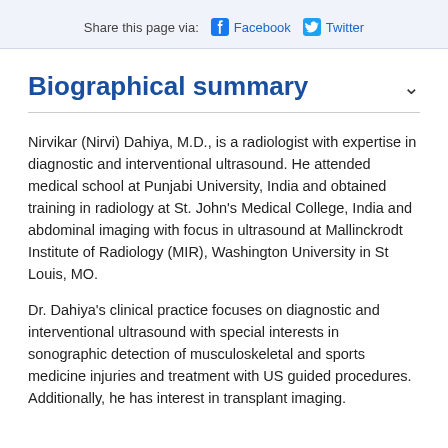Share this page via:  Facebook  Twitter
Biographical summary
Nirvikar (Nirvi) Dahiya, M.D., is a radiologist with expertise in diagnostic and interventional ultrasound. He attended medical school at Punjabi University, India and obtained training in radiology at St. John's Medical College, India and abdominal imaging with focus in ultrasound at Mallinckrodt Institute of Radiology (MIR), Washington University in St Louis, MO.
Dr. Dahiya's clinical practice focuses on diagnostic and interventional ultrasound with special interests in sonographic detection of musculoskeletal and sports medicine injuries and treatment with US guided procedures. Additionally, he has interest in transplant imaging.